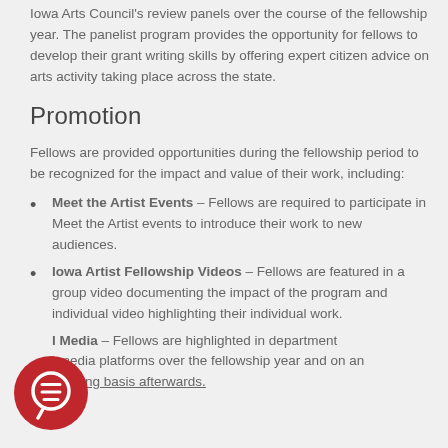Iowa Arts Council's review panels over the course of the fellowship year. The panelist program provides the opportunity for fellows to develop their grant writing skills by offering expert citizen advice on arts activity taking place across the state.
Promotion
Fellows are provided opportunities during the fellowship period to be recognized for the impact and value of their work, including:
Meet the Artist Events – Fellows are required to participate in Meet the Artist events to introduce their work to new audiences.
Iowa Artist Fellowship Videos – Fellows are featured in a group video documenting the impact of the program and individual video highlighting their individual work.
Social Media – Fellows are highlighted in department social media platforms over the fellowship year and on an ongoing basis afterwards.